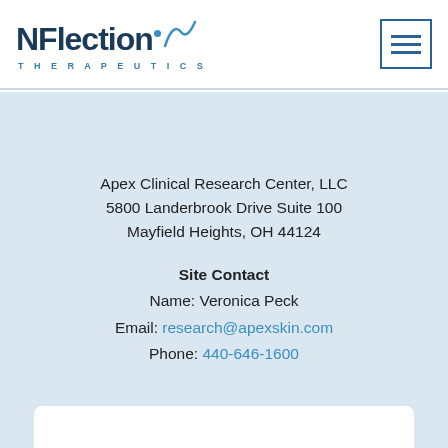NFlection Therapeutics logo and navigation menu
Apex Clinical Research Center, LLC
5800 Landerbrook Drive Suite 100
Mayfield Heights, OH 44124
Site Contact
Name: Veronica Peck
Email: research@apexskin.com
Phone: 440-646-1600